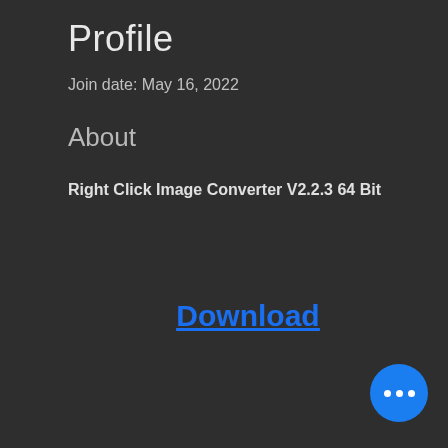Profile
Join date: May 16, 2022
About
Right Click Image Converter V2.2.3 64 Bit
Download